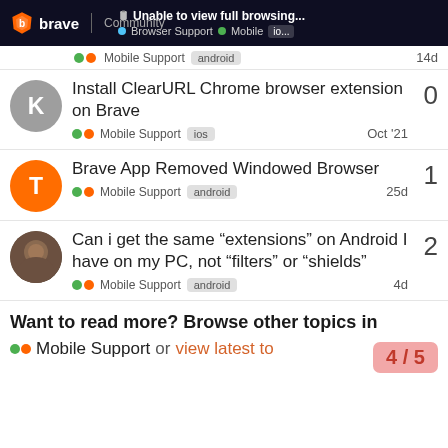brave Community | Unable to view full browsing... | Browser Support • Mobile | io...
Mobile Support android 14d
Install ClearURL Chrome browser extension on Brave — Mobile Support ios — Oct '21 — 0
Brave App Removed Windowed Browser — Mobile Support android — 25d — 1
Can i get the same “extensions” on Android I have on my PC, not “filters” or “shields” — Mobile Support android — 4d — 2
Want to read more? Browse other topics in
Mobile Support or view latest to...
4 / 5